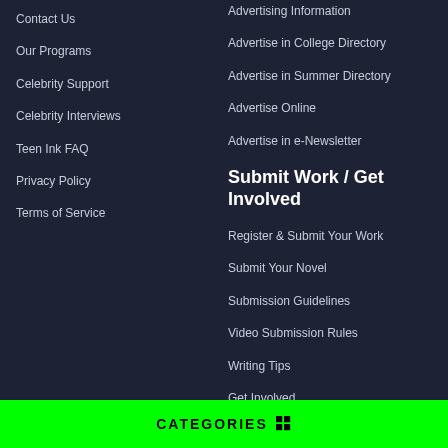Contact Us
Our Programs
Celebrity Support
Celebrity Interviews
Teen Ink FAQ
Privacy Policy
Terms of Service
Advertising Information
Advertise in College Directory
Advertise in Summer Directory
Advertise Online
Advertise in e-Newsletter
Submit Work / Get Involved
Register & Submit Your Work
Submit Your Novel
Submission Guidelines
Video Submission Rules
Writing Tips
Get Involved
Subscribe to Teen Ink magazine
CATEGORIES